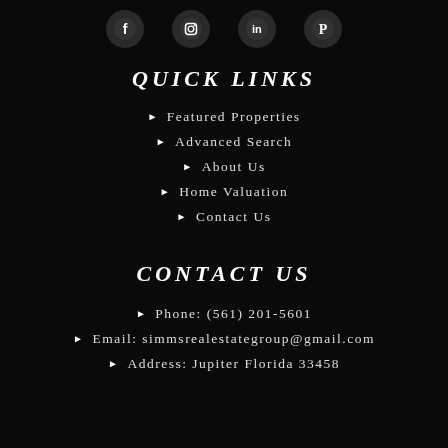[Figure (illustration): Row of four social media icon circles: Facebook, Instagram, LinkedIn, Pinterest — white icons on dark circular backgrounds]
QUICK LINKS
Featured Properties
Advanced Search
About Us
Home Valuation
Contact Us
CONTACT US
Phone: (561) 201-5601
Email: simmsrealestategroup@gmail.com
Address: Jupiter Florida 33458